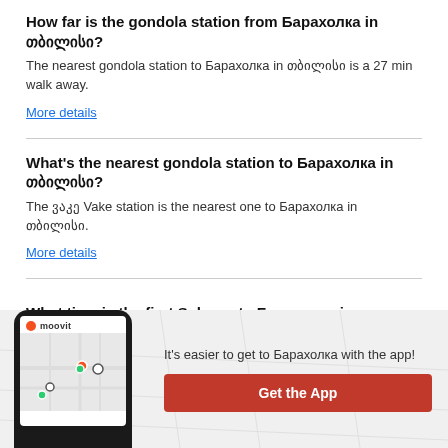How far is the gondola station from Барахолка in თბილისი?
The nearest gondola station to Барахолка in თბილისი is a 27 min walk away.
More details
What's the nearest gondola station to Барахолка in თბილისი?
The ვაკე Vake station is the nearest one to Барахолка in თბილისი.
More details
What time is the first Subway to Барахолка in
[Figure (screenshot): Moovit app banner with phone mockup showing map, logo, text 'It's easier to get to Барахолка with the app!' and orange 'Get the App' button]